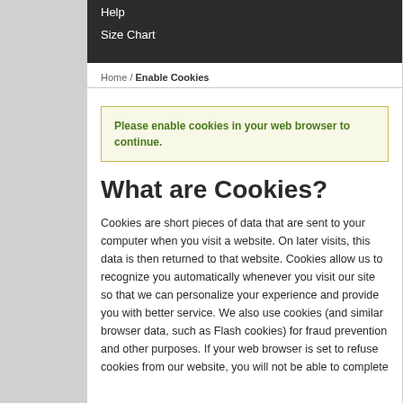Help
Size Chart
Home / Enable Cookies
Please enable cookies in your web browser to continue.
What are Cookies?
Cookies are short pieces of data that are sent to your computer when you visit a website. On later visits, this data is then returned to that website. Cookies allow us to recognize you automatically whenever you visit our site so that we can personalize your experience and provide you with better service. We also use cookies (and similar browser data, such as Flash cookies) for fraud prevention and other purposes. If your web browser is set to refuse cookies from our website, you will not be able to complete